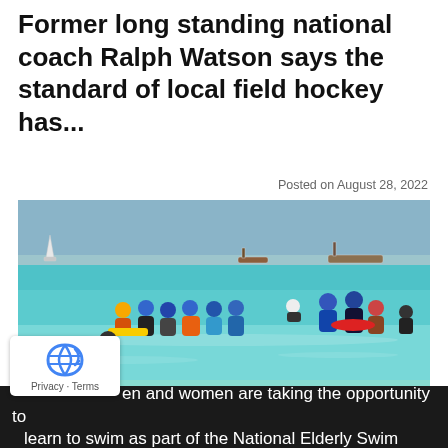Former long standing national coach Ralph Watson says the standard of local field hockey has...
Posted on August 28, 2022
[Figure (photo): A group of elderly men and women in a shallow turquoise sea, wearing colorful swim caps, some holding floatation boards, with boats visible in the background. A swim instructor appears to be guiding them.]
en and women are taking the opportunity to learn to swim as part of the National Elderly Swim